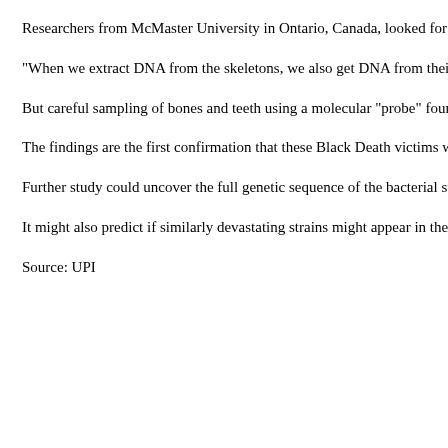Researchers from McMaster University in Ontario, Canada, looked for Yersinia D a task complicated by possibility of contamination, they said.
"When we extract DNA from the skeletons, we also get DNA from their environm
But careful sampling of bones and teeth using a molecular "probe" found DNA be known today, and not found in skeletons buried elsewhere in London before the B
The findings are the first confirmation that these Black Death victims were infecte
Further study could uncover the full genetic sequence of the bacterial strain behin explain both why it was so virulent and how it evolved, researchers said.
It might also predict if similarly devastating strains might appear in the future, the
Source: UPI